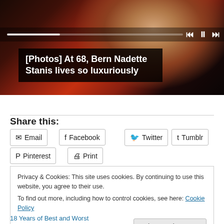[Figure (screenshot): Photo of a woman in a red and black patterned outfit with media player controls overlay bar showing progress track and navigation buttons]
[Photos] At 68, Bern Nadette Stanis lives so luxuriously
Share this:
Email
Facebook
Twitter
Tumblr
Pinterest
Print
Privacy & Cookies: This site uses cookies. By continuing to use this website, you agree to their use.
To find out more, including how to control cookies, see here: Cookie Policy
Close and accept
18 Years of Best and Worst